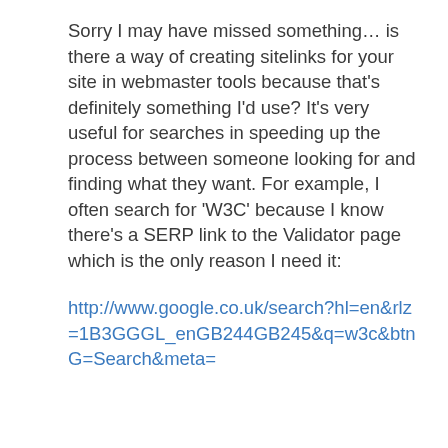Sorry I may have missed something… is there a way of creating sitelinks for your site in webmaster tools because that's definitely something I'd use? It's very useful for searches in speeding up the process between someone looking for and finding what they want. For example, I often search for 'W3C' because I know there's a SERP link to the Validator page which is the only reason I need it:
http://www.google.co.uk/search?hl=en&rlz=1B3GGGL_enGB244GB245&q=w3c&btnG=Search&meta=